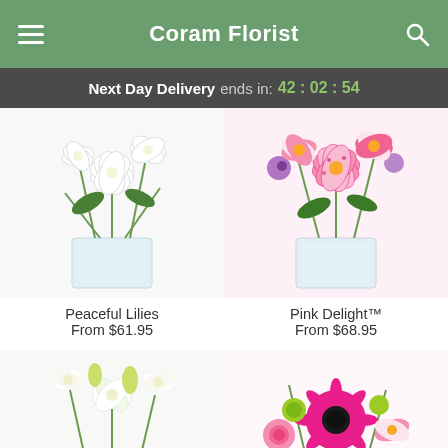Coram Florist
Next Day Delivery ends in: 42 : 02 : 54
[Figure (photo): White lilies in a clear glass square vase]
[Figure (photo): Pink stargazer lilies with purple accents in a clear glass square vase]
Peaceful Lilies
From $61.95
Pink Delight™
From $68.95
[Figure (photo): White lilies and mixed white flowers in a low green-lined vase]
[Figure (photo): Hot pink gerbera daisies, roses, and stargazer lilies mixed arrangement]